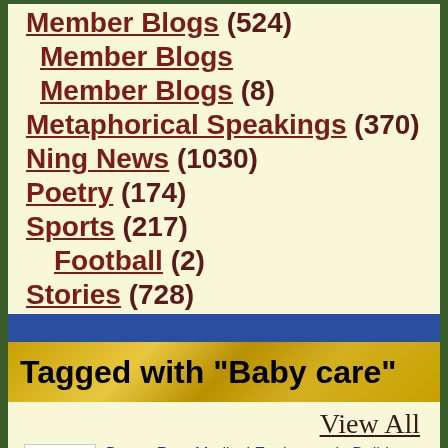Member Blogs (524)
Member Blogs
Member Blogs (8)
Metaphorical Speakings (370)
Ning News (1030)
Poetry (174)
Sports (217)
Football (2)
Stories (728)
websites (1493)
Tagged with "Baby care"
View All
Buy or Rent Medical Equipment in Delhi